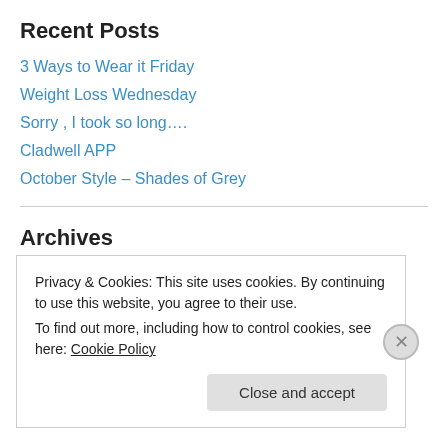Recent Posts
3 Ways to Wear it Friday
Weight Loss Wednesday
Sorry , I took so long….
Cladwell APP
October Style – Shades of Grey
Archives
January 2020 (3)
October 2018 (8)
Privacy & Cookies: This site uses cookies. By continuing to use this website, you agree to their use.
To find out more, including how to control cookies, see here: Cookie Policy
Close and accept